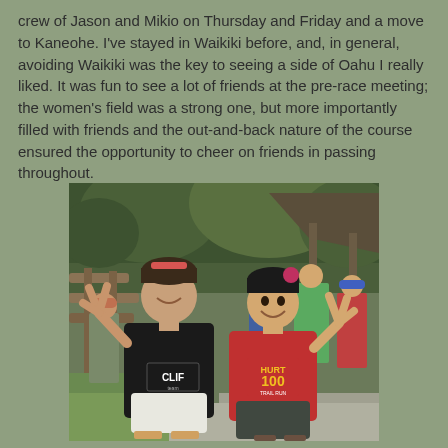crew of Jason and Mikio on Thursday and Friday and a move to Kaneohe. I've stayed in Waikiki before, and, in general, avoiding Waikiki was the key to seeing a side of Oahu I really liked. It was fun to see a lot of friends at the pre-race meeting; the women's field was a strong one, but more importantly filled with friends and the out-and-back nature of the course ensured the opportunity to cheer on friends in passing throughout.
[Figure (photo): Two women posing together outdoors, both making peace signs. The woman on the left wears a black Clif team shirt and white shorts. The woman on the right wears a red HURT 100 Trail Run shirt. Trees, a wooden fence, and other people are visible in the background.]